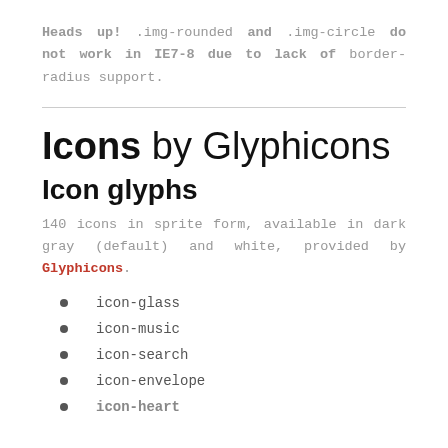Heads up! .img-rounded and .img-circle do not work in IE7-8 due to lack of border-radius support.
Icons by Glyphicons
Icon glyphs
140 icons in sprite form, available in dark gray (default) and white, provided by Glyphicons.
icon-glass
icon-music
icon-search
icon-envelope
icon-heart